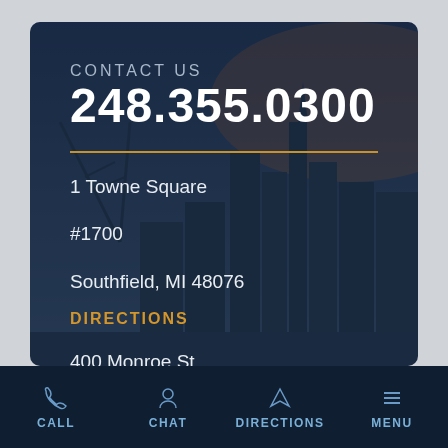CONTACT US
248.355.0300
1 Towne Square
#1700
Southfield, MI 48076
DIRECTIONS
400 Monroe St
CALL  CHAT  DIRECTIONS  MENU